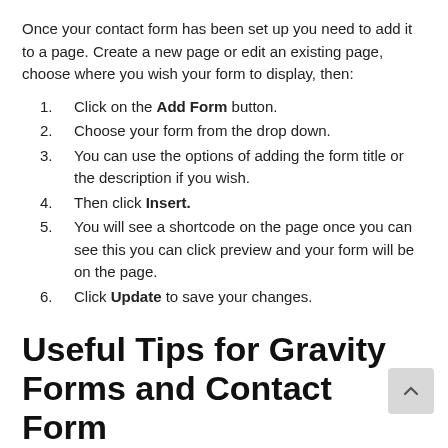Once your contact form has been set up you need to add it to a page. Create a new page or edit an existing page, choose where you wish your form to display, then:
Click on the Add Form button.
Choose your form from the drop down.
You can use the options of adding the form title or the description if you wish.
Then click Insert.
You will see a shortcode on the page once you can see this you can click preview and your form will be on the page.
Click Update to save your changes.
Useful Tips for Gravity Forms and Contact Form
Once you've created a contact form and used it on your